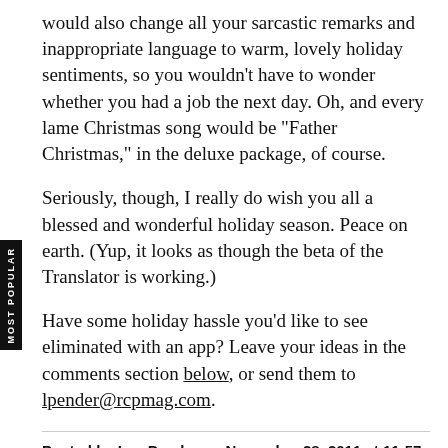would also change all your sarcastic remarks and inappropriate language to warm, lovely holiday sentiments, so you wouldn't have to wonder whether you had a job the next day. Oh, and every lame Christmas song would be "Father Christmas," in the deluxe package, of course.
Seriously, though, I really do wish you all a blessed and wonderful holiday season. Peace on earth. (Yup, it looks as though the beta of the Translator is working.)
Have some holiday hassle you'd like to see eliminated with an app? Leave your ideas in the comments section below, or send them to lpender@rcpmag.com.
Posted by Lee Pender on November 28, 2011 at 11:57 AM